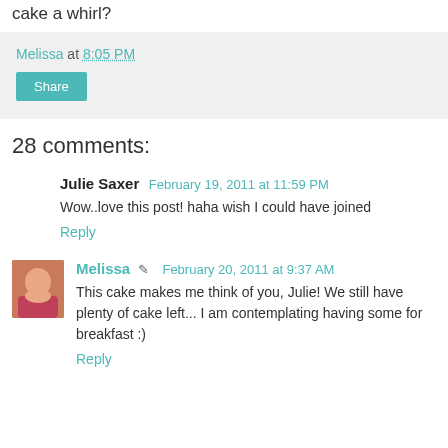cake a whirl?
Melissa at 8:05 PM
Share
28 comments:
Julie Saxer  February 19, 2011 at 11:59 PM
Wow..love this post! haha wish I could have joined
Reply
Melissa  February 20, 2011 at 9:37 AM
This cake makes me think of you, Julie! We still have plenty of cake left... I am contemplating having some for breakfast :)
Reply